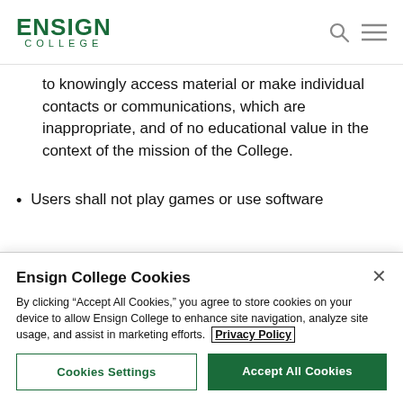ENSIGN COLLEGE
to knowingly access material or make individual contacts or communications, which are inappropriate, and of no educational value in the context of the mission of the College.
Users shall not play games or use software
Ensign College Cookies
By clicking “Accept All Cookies,” you agree to store cookies on your device to allow Ensign College to enhance site navigation, analyze site usage, and assist in marketing efforts. Privacy Policy
Cookies Settings    Accept All Cookies